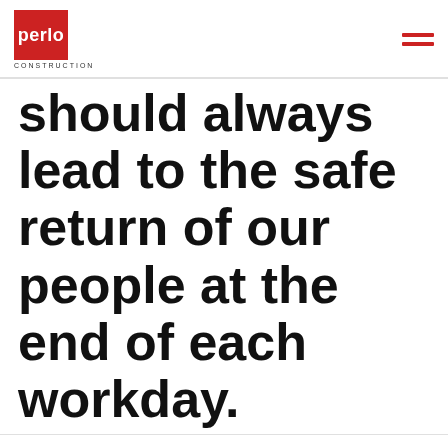perlo CONSTRUCTION
should always lead to the safe return of our people at the end of each workday.
This website uses cookies to improve your experience. We'll assume you're ok with this, but you can opt-out if you wish.
Cookie settings   ACCEPT